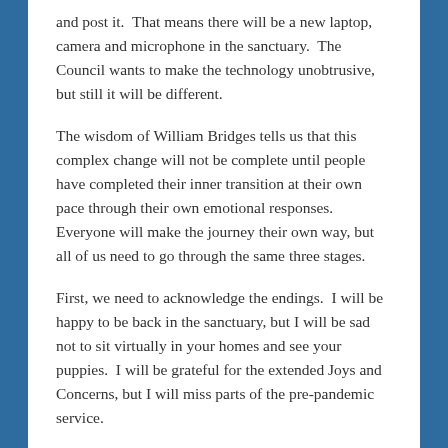and post it.  That means there will be a new laptop, camera and microphone in the sanctuary.  The Council wants to make the technology unobtrusive, but still it will be different.
The wisdom of William Bridges tells us that this complex change will not be complete until people have completed their inner transition at their own pace through their own emotional responses.  Everyone will make the journey their own way, but all of us need to go through the same three stages.
First, we need to acknowledge the endings.  I will be happy to be back in the sanctuary, but I will be sad not to sit virtually in your homes and see your puppies.  I will be grateful for the extended Joys and Concerns, but I will miss parts of the pre-pandemic service.
Second, we all need to go through the